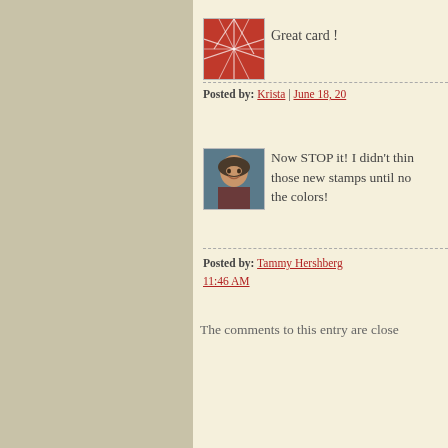[Figure (photo): Red abstract geometric avatar image with white line pattern]
Great card !
Posted by: Krista | June 18, 20...
[Figure (photo): Profile photo of a woman with short dark hair smiling]
Now STOP it! I didn't think those new stamps until no... the colors!
Posted by: Tammy Hershberg... 11:46 AM
The comments to this entry are close...